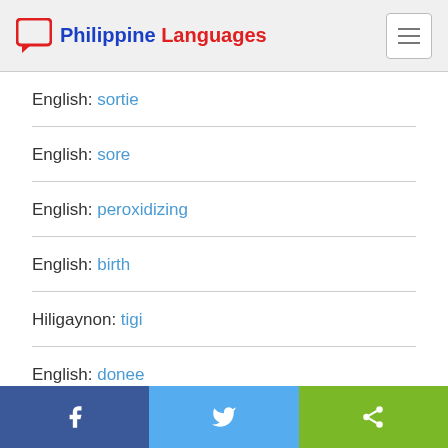Philippine Languages
English: sortie
English: sore
English: peroxidizing
English: birth
Hiligaynon: tigi
English: donee
Facebook | Twitter | Share